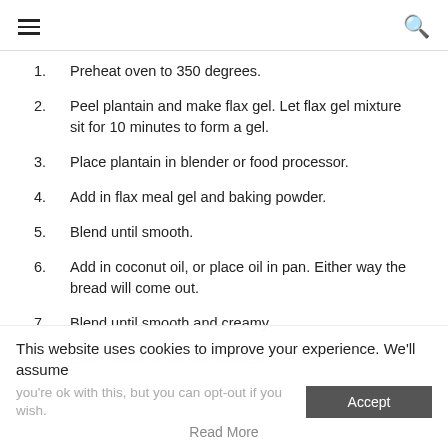≡  🔍
Preheat oven to 350 degrees.
Peel plantain and make flax gel. Let flax gel mixture sit for 10 minutes to form a gel.
Place plantain in blender or food processor.
Add in flax meal gel and baking powder.
Blend until smooth.
Add in coconut oil, or place oil in pan. Either way the bread will come out.
Blend until smooth and creamy.
Bake bread for 15-30 minutes.
This website uses cookies to improve your experience. We'll assume you're ok with this, but you can opt-out if you wish.
Read More